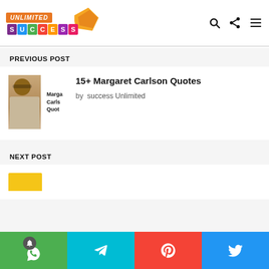Unlimited Success — header with logo and navigation icons
PREVIOUS POST
[Figure (photo): Thumbnail image of Margaret Carlson with text overlay reading 'Marga Carls Quot']
15+ Margaret Carlson Quotes
by  success Unlimited
NEXT POST
Social sharing bar: WhatsApp, Telegram, Pinterest, Twitter